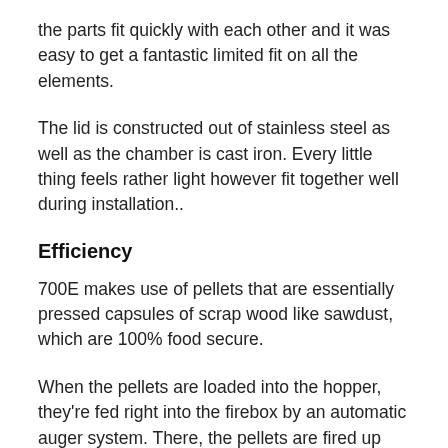the parts fit quickly with each other and it was easy to get a fantastic limited fit on all the elements.
The lid is constructed out of stainless steel as well as the chamber is cast iron. Every little thing feels rather light however fit together well during installation..
Efficiency
700E makes use of pellets that are essentially pressed capsules of scrap wood like sawdust, which are 100% food secure.
When the pellets are loaded into the hopper, they're fed right into the firebox by an automatic auger system. There, the pellets are fired up and